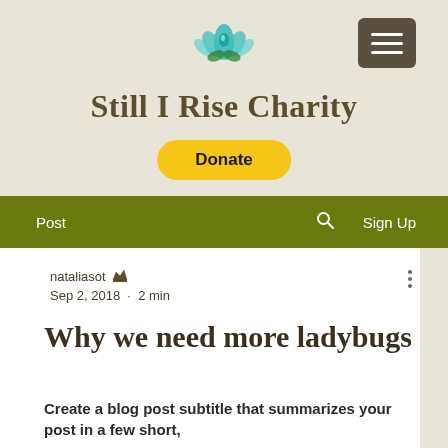[Figure (logo): Teal/turquoise lotus flower icon used as site logo for Still I Rise Charity]
Still I Rise Charity
[Figure (other): Yellow rounded Donate button]
Post  [search icon]  Sign Up
nataliasot [crown icon]
Sep 2, 2018 · 2 min
Why we need more ladybugs
Create a blog post subtitle that summarizes your post in a few short,